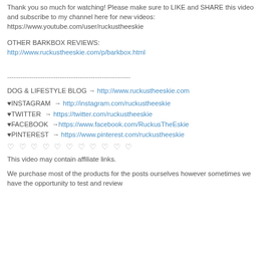Thank you so much for watching! Please make sure to LIKE and SHARE this video and subscribe to my channel here for new videos: https://www.youtube.com/user/ruckustheeskie
OTHER BARKBOX REVIEWS:
http://www.ruckustheeskie.com/p/barkbox.html
--------------------------------------------------------
DOG & LIFESTYLE BLOG → http://www.ruckustheeskie.com
♥INSTAGRAM → http://instagram.com/ruckustheeskie
♥TWITTER → https://twitter.com/ruckustheeskie
♥FACEBOOK → https://www.facebook.com/RuckusTheEskie
♥PINTEREST → https://www.pinterest.com/ruckustheeskie
♡ ♡ ♡ ♡ ♡ ♡ ♡ ♡ ♡ ♡ ♡
This video may contain affiliate links.
We purchase most of the products for the posts ourselves however sometimes we have the opportunity to test and review